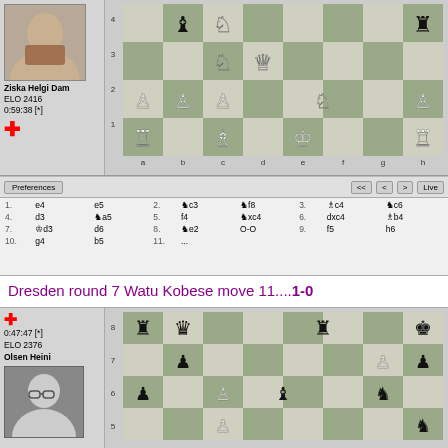[Figure (screenshot): Chess game interface showing board position with player Ziska Helgi Dam, ELO 2416, time 0:59:38, with chess board showing mid-game position]
[Figure (screenshot): Chess moves notation panel showing moves 1-11: 1.e4 e5 2.Nc3 Nf8 3.Bc4 Nc6 4.d3 Na5 5.f4 Nxc4 6.dxc4 Bb4 7.Kd3 d6 8.Ne2 O-O 9.f5 h6 10.g4 b5 11....]
Dresden round 7 Watu Kobese move 11....1-0
[Figure (screenshot): Chess game interface showing second board with player Olsen Heini, ELO 2376, time 0:47:47, showing board position around move 7-8]